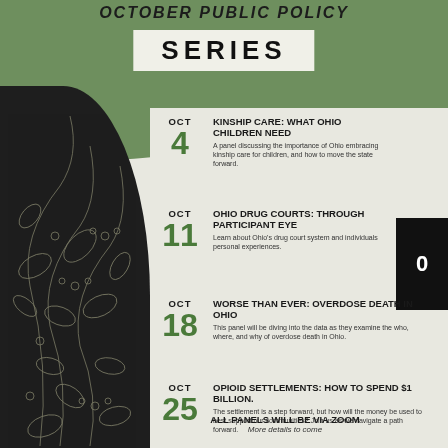OCTOBER PUBLIC POLICY
SERIES
OCT 4 — KINSHIP CARE: WHAT OHIO CHILDREN NEED — A panel discussing the importance of Ohio embracing kinship care for children, and how to move the state forward.
OCT 11 — OHIO DRUG COURTS: THROUGH PARTICIPANT EYES — Learn about Ohio's drug court system and individuals personal experiences.
OCT 18 — WORSE THAN EVER: OVERDOSE DEATH IN OHIO — This panel will be diving into the data as they examine the who, where, and why of overdose death in Ohio.
OCT 25 — OPIOID SETTLEMENTS: HOW TO SPEND $1 BILLION. — The settlement is a step forward, but how will the money be used to best support our communities? Join us as we navigate a path forward.
ALL PANELS WILL BE VIA ZOOM
More details to come